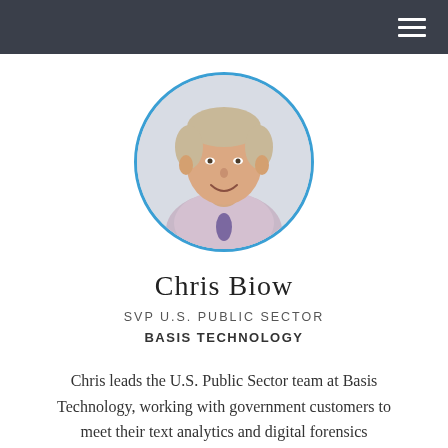[Figure (photo): Circular headshot of Chris Biow, a middle-aged man with short gray-blond hair, wearing a light pink shirt and purple tie, smiling, with a blue circular border]
Chris Biow
SVP U.S. PUBLIC SECTOR
BASIS TECHNOLOGY
Chris leads the U.S. Public Sector team at Basis Technology, working with government customers to meet their text analytics and digital forensics